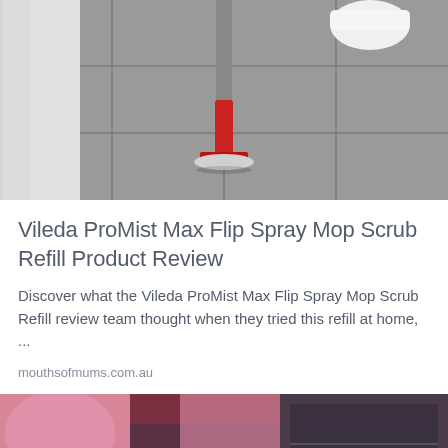[Figure (photo): A spray mop with a red and silver body standing on grey tiled floor, with a white sneaker visible in the background]
Vileda ProMist Max Flip Spray Mop Scrub Refill Product Review
Discover what the Vileda ProMist Max Flip Spray Mop Scrub Refill review team thought when they tried this refill at home, ...
mouthsofmums.com.au
[Figure (photo): A person wearing pink sleeves and blue gloves handling raw meat at what appears to be a butcher counter or meat display]